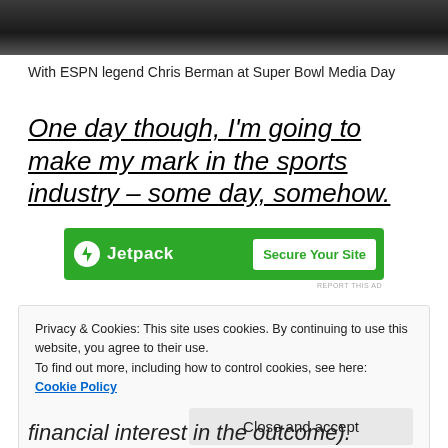[Figure (photo): Cropped bottom portion of a photo showing people at an event, dark background]
With ESPN legend Chris Berman at Super Bowl Media Day
One day though, I'm going to make my mark in the sports industry – some day, somehow.
[Figure (other): Jetpack advertisement banner with green background showing 'Jetpack' logo and 'Secure Your Site' button]
Privacy & Cookies: This site uses cookies. By continuing to use this website, you agree to their use.
To find out more, including how to control cookies, see here:
Cookie Policy
Close and accept
financial interest in the outcome).